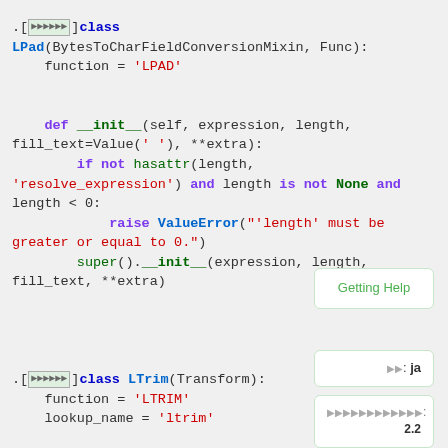[Figure (screenshot): Python source code showing LPad and LTrim class definitions with syntax highlighting. LPad inherits from BytesToCharFieldConversionMixin and Func, sets function='LPAD', and defines __init__ with expression, length, fill_text=Value(' '), **extra parameters, raising ValueError if length is not None and length < 0. LTrim inherits from Transform, sets function='LTRIM' and lookup_name='ltrim'. Sidebar elements show 'Getting Help', 'ja' language selector, and version '2.2'.]